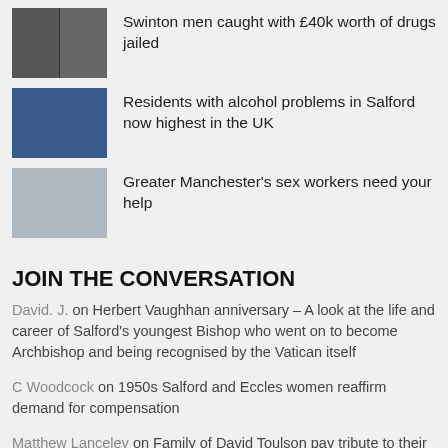Swinton men caught with £40k worth of drugs jailed
Residents with alcohol problems in Salford now highest in the UK
Greater Manchester's sex workers need your help
JOIN THE CONVERSATION
David. J. on Herbert Vaughan anniversary – A look at the life and career of Salford's youngest Bishop who went on to become Archbishop and being recognised by the Vatican itself
C Woodcock on 1950s Salford and Eccles women reaffirm demand for compensation
Matthew Lanceley on Family of David Toulson pay tribute to their 'beloved son, brother and uncle'
Danny on Family of David Toulson pay tribute to their 'beloved son,